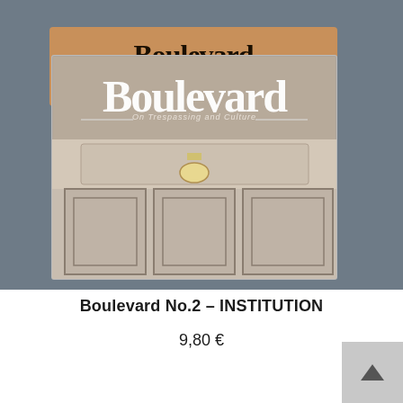[Figure (photo): Product photo showing Boulevard No.2 INSTITUTION magazine/newspaper laid on top of a kraft cardboard box. The magazine cover features old-style blackletter 'Boulevard' title and subtitle 'On Trespassing and Culture', with an interior architectural image showing a hallway with ceiling light and three door panels. Background is grey.]
Boulevard No.2 – INSTITUTION
9,80 €